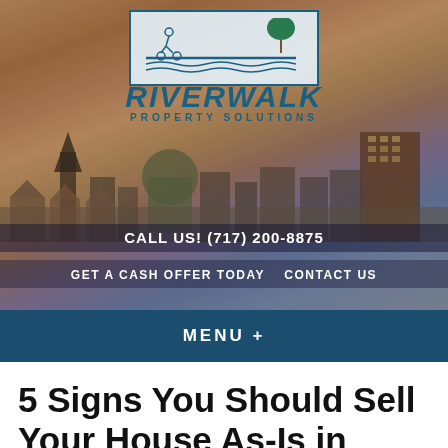[Figure (screenshot): Riverwalk Property Solutions website header with city skyline background, logo with river/cyclist illustration, phone number and navigation links]
RIVERWALK PROPERTY SOLUTIONS
CALL US! (717) 200-8875
GET A CASH OFFER TODAY   CONTACT US
MENU +
5 Signs You Should Sell Your House As-Is in Harrisburg